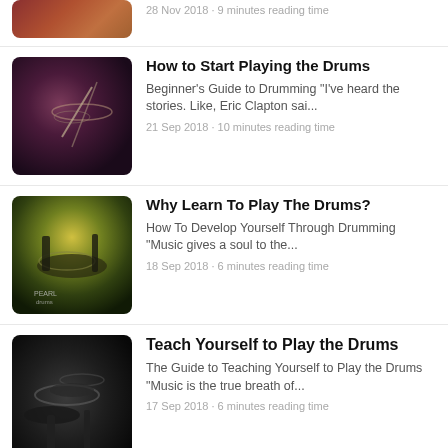[Figure (photo): Partial drum/cymbal photo at top (cropped)]
28 Nov 2018 · 9 minutes reading time
[Figure (photo): Drummer performing on stage with cymbals, dark moody lighting]
How to Start Playing the Drums
Beginner's Guide to Drumming "I've heard the stories. Like, Eric Clapton sai...
21 Sep 2018 · 10 minutes reading time
[Figure (photo): Drum kit on stage with green spotlight, Pearl drums visible]
Why Learn To Play The Drums?
How To Develop Yourself Through Drumming "Music gives a soul to the...
18 Sep 2018 · 6 minutes reading time
[Figure (photo): Dark drum kit close-up, cymbals visible]
Teach Yourself to Play the Drums
The Guide to Teaching Yourself to Play the Drums "Music is the true breath of...
17 Sep 2018 · 6 minutes reading time